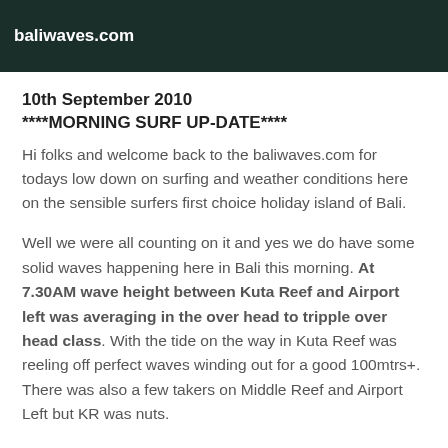baliwaves.com
10th September 2010
****MORNING SURF UP-DATE****
Hi folks and welcome back to the baliwaves.com for todays low down on surfing and weather conditions here on the sensible surfers first choice holiday island of Bali.
Well we were all counting on it and yes we do have some solid waves happening here in Bali this morning. At 7.30AM wave height between Kuta Reef and Airport left was averaging in the over head to tripple over head class. With the tide on the way in Kuta Reef was reeling off perfect waves winding out for a good 100mtrs+. There was also a few takers on Middle Reef and Airport Left but KR was nuts.